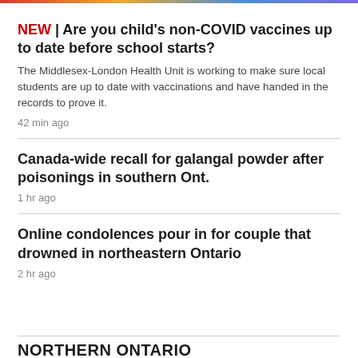NEW | Are you child's non-COVID vaccines up to date before school starts?
The Middlesex-London Health Unit is working to make sure local students are up to date with vaccinations and have handed in the records to prove it.
42 min ago
Canada-wide recall for galangal powder after poisonings in southern Ont.
1 hr ago
Online condolences pour in for couple that drowned in northeastern Ontario
2 hr ago
NORTHERN ONTARIO